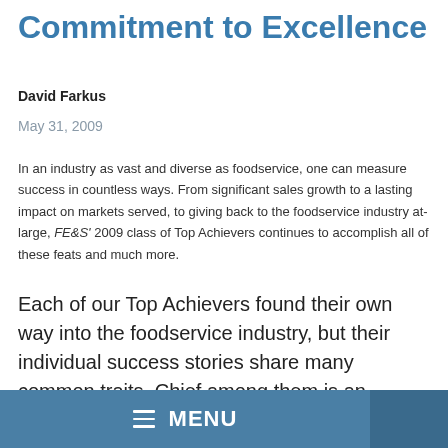Commitment to Excellence
David Farkus
May 31, 2009
In an industry as vast and diverse as foodservice, one can measure success in countless ways. From significant sales growth to a lasting impact on markets served, to giving back to the foodservice industry at-large, FE&S' 2009 class of Top Achievers continues to accomplish all of these feats and much more.
Each of our Top Achievers found their own way into the foodservice industry, but their individual success stories share many common traits. Chief among them is an unwavering passion for the industry and an unflinching focus on customer care. They excel when it comes to forming relationships with their peers and other industry
MENU